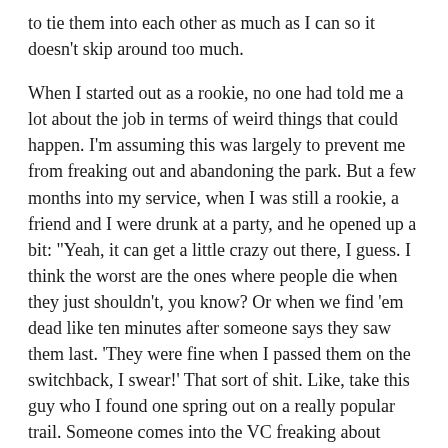to tie them into each other as much as I can so it doesn't skip around too much.
When I started out as a rookie, no one had told me a lot about the job in terms of weird things that could happen. I'm assuming this was largely to prevent me from freaking out and abandoning the park. But a few months into my service, when I was still a rookie, a friend and I were drunk at a party, and he opened up a bit: "Yeah, it can get a little crazy out there, I guess. I think the worst are the ones where people die when they just shouldn't, you know? Or when we find 'em dead like ten minutes after someone says they saw them last. 'They were fine when I passed them on the switchback, I swear!' That sort of shit. Like, take this guy who I found one spring out on a really popular trail. Someone comes into the VC freaking about about some guy who's lying in the middle of the path in this giant pool of blood. So we run out there, and we find this guy dead as a doornail. Which he absolutely should be, because the back of his head is like mashed potatoes. The skull is decimated, brains are leaking out like custard filling, and they guy's old so you figure yeah, he probably fell and hit his head. Old people fall all